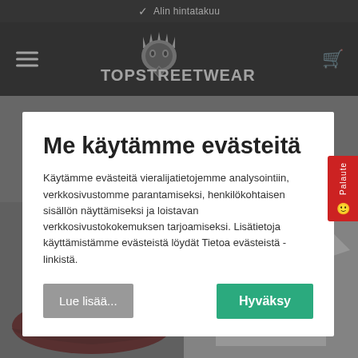✓ Alin hintatakuu
[Figure (logo): TopStreetWear logo with spiky crown mascot graphic and text TOPSTREETWEAR]
Me käytämme evästeitä
Käytämme evästeitä vieralijatietojemme analysointiin, verkkosivustomme parantamiseksi, henkilökohtaisen sisällön näyttämiseksi ja loistavan verkkosivustokokemuksen tarjoamiseksi. Lisätietoja käyttämistämme evästeistä löydät Tietoa evästeistä - linkistä.
Lue lisää...
Hyväksy
[Figure (photo): Dark red Starter brand snapback cap with star logo]
[Figure (photo): White Starter brand t-shirt with star logo]